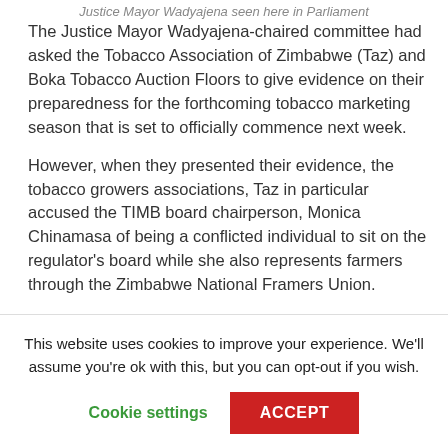Justice Mayor Wadyajena seen here in Parliament
The Justice Mayor Wadyajena-chaired committee had asked the Tobacco Association of Zimbabwe (Taz) and Boka Tobacco Auction Floors to give evidence on their preparedness for the forthcoming tobacco marketing season that is set to officially commence next week.
However, when they presented their evidence, the tobacco growers associations, Taz in particular accused the TIMB board chairperson, Monica Chinamasa of being a conflicted individual to sit on the regulator’s board while she also represents farmers through the Zimbabwe National Framers Union.
This website uses cookies to improve your experience. We’ll assume you’re ok with this, but you can opt-out if you wish.
Cookie settings    ACCEPT